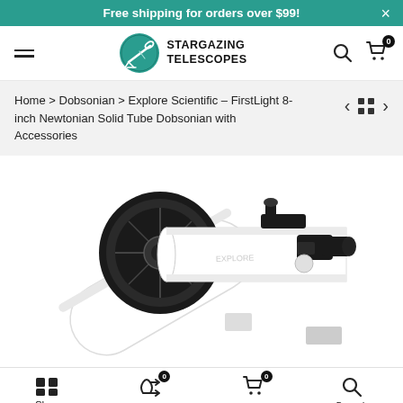Free shipping for orders over $99!
[Figure (logo): Stargazing Telescopes logo with telescope icon and bold uppercase text]
Home > Dobsonian > Explore Scientific - FirstLight 8-inch Newtonian Solid Tube Dobsonian with Accessories
[Figure (photo): White Explore Scientific FirstLight 8-inch Newtonian Dobsonian telescope with black focuser and finder scope, angled view]
Shop   Compare   Cart   Search